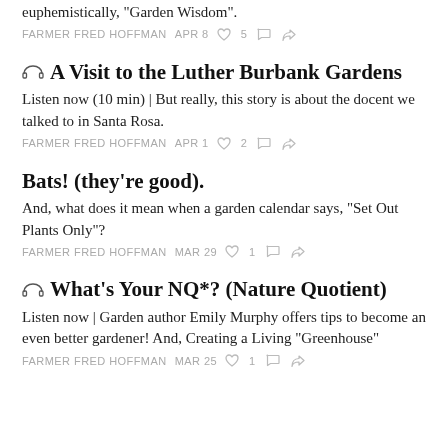euphemistically, "Garden Wisdom".
FARMER FRED HOFFMAN   APR 8   ♡ 5
🎧 A Visit to the Luther Burbank Gardens
Listen now (10 min) | But really, this story is about the docent we talked to in Santa Rosa.
FARMER FRED HOFFMAN   APR 1   ♡ 2
Bats! (they're good).
And, what does it mean when a garden calendar says, "Set Out Plants Only"?
FARMER FRED HOFFMAN   MAR 29   ♡ 1
🎧 What's Your NQ*? (Nature Quotient)
Listen now | Garden author Emily Murphy offers tips to become an even better gardener! And, Creating a Living "Greenhouse"
FARMER FRED HOFFMAN   MAR 25   ♡ 1